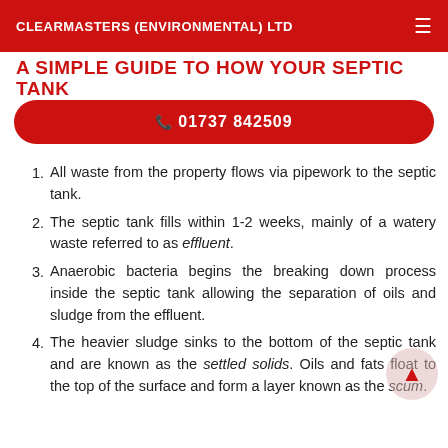CLEARMASTERS (ENVIRONMENTAL) LTD
A SIMPLE GUIDE TO HOW YOUR SEPTIC TANK
☎ 01737 842509
All waste from the property flows via pipework to the septic tank.
The septic tank fills within 1-2 weeks, mainly of a watery waste referred to as effluent.
Anaerobic bacteria begins the breaking down process inside the septic tank allowing the separation of oils and sludge from the effluent.
The heavier sludge sinks to the bottom of the septic tank and are known as the settled solids. Oils and fats float to the top of the surface and form a layer known as the scum.